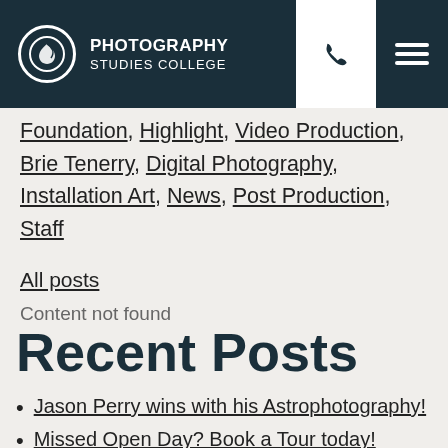Photography Studies College
Foundation, Highlight, Video Production, Brie Tenerry, Digital Photography, Installation Art, News, Post Production, Staff
All posts
Content not found
Recent Posts
Jason Perry wins with his Astrophotography!
Missed Open Day? Book a Tour today!
Student Feature - Jason Perry
Open Day August 14th - Capture Your